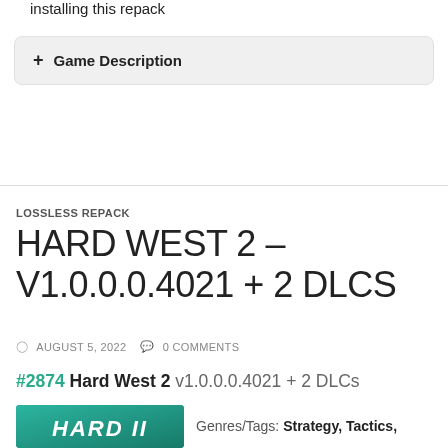installing this repack
+ Game Description
LOSSLESS REPACK
HARD WEST 2 – V1.0.0.0.4021 + 2 DLCS
AUGUST 5, 2022  0 COMMENTS
#2874 Hard West 2 v1.0.0.0.4021 + 2 DLCs
[Figure (photo): Hard West 2 game thumbnail/cover art with teal background and stylized text]
Genres/Tags: Strategy, Tactics,